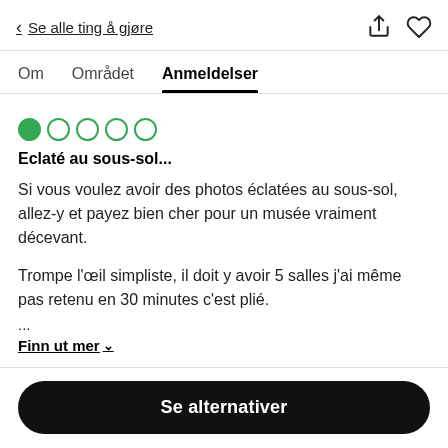< Se alle ting å gjøre
Om   Området   Anmeldelser
[Figure (other): 1 out of 5 filled green circles (rating indicator)]
Eclaté au sous-sol...
Si vous voulez avoir des photos éclatées au sous-sol, allez-y et payez bien cher pour un musée vraiment décevant.
Trompe l'œil simpliste, il doit y avoir 5 salles j'ai même pas retenu en 30 minutes c'est plié.
...
Finn ut mer ∨
Se alternativer